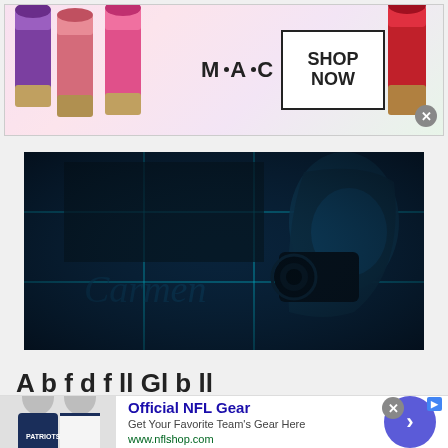[Figure (photo): MAC cosmetics advertisement banner showing colorful lipsticks on the left, MAC logo in the center, and a 'SHOP NOW' box on the right with a red lipstick on the far right. A close X button is visible.]
[Figure (photo): Dark blue-tinted photograph of a woman with long blonde hair looking through a camera lens, set against a dark atmospheric background with grid lines and cursive text overlay.]
A b ... f ... d f ll ... Gl b ll ...
[Figure (photo): Official NFL Gear advertisement showing two people in Patriots jerseys (navy and white), with text 'Official NFL Gear', 'Get Your Favorite Team's Gear Here', 'www.nflshop.com', a purple/blue circular arrow button, and a close X button.]